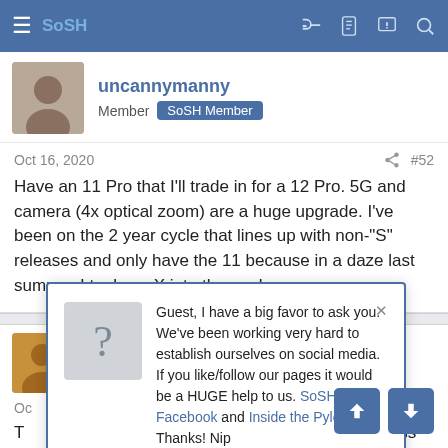SoSH (navigation bar with hamburger menu, key, clipboard, alert, and search icons)
uncannymanny
Member  SoSH Member
Oct 16, 2020  #52
Have an 11 Pro that I'll trade in for a 12 Pro. 5G and camera (4x optical zoom) are a huge upgrade. I've been on the 2 year cycle that lines up with non-"S" releases and only have the 11 because in a daze last summer I took my X into the pool.
Seels
Oct  #53
T... ade in my old ass Ip...
[Figure (screenshot): Popup dialog box with question mark avatar, close button (×), and text: 'Guest, I have a big favor to ask you. We've been working very hard to establish ourselves on social media. If you like/follow our pages it would be a HUGE help to us. SoSH on Facebook and Inside the Pylon Thanks! Nip']